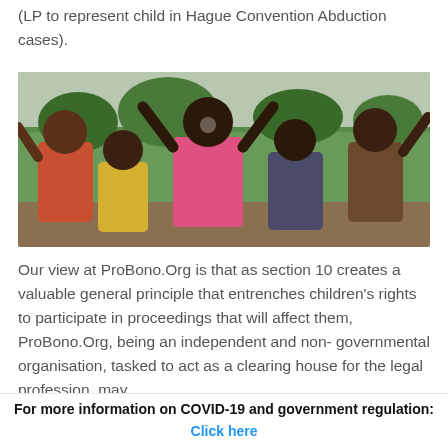(LP to represent child in Hague Convention Abduction cases).
[Figure (photo): Group of African children outdoors with arms raised, smiling and celebrating, with trees and buildings in the background.]
Our view at ProBono.Org is that as section 10 creates a valuable general principle that entrenches children's rights to participate in proceedings that will affect them, ProBono.Org, being an independent and non- governmental organisation, tasked to act as a clearing house for the legal profession, may
For more information on COVID-19 and government regulation: Click here